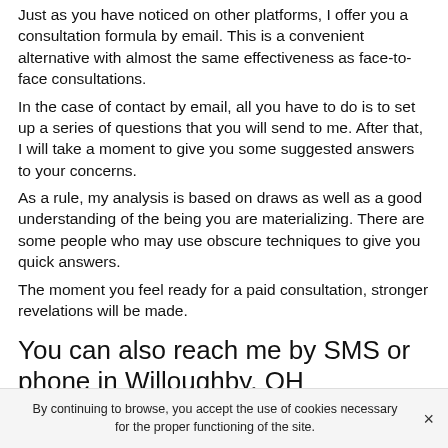Just as you have noticed on other platforms, I offer you a consultation formula by email. This is a convenient alternative with almost the same effectiveness as face-to-face consultations.
In the case of contact by email, all you have to do is to set up a series of questions that you will send to me. After that, I will take a moment to give you some suggested answers to your concerns.
As a rule, my analysis is based on draws as well as a good understanding of the being you are materializing. There are some people who may use obscure techniques to give you quick answers.
The moment you feel ready for a paid consultation, stronger revelations will be made.
You can also reach me by SMS or phone in Willoughby, OH
By continuing to browse, you accept the use of cookies necessary for the proper functioning of the site.